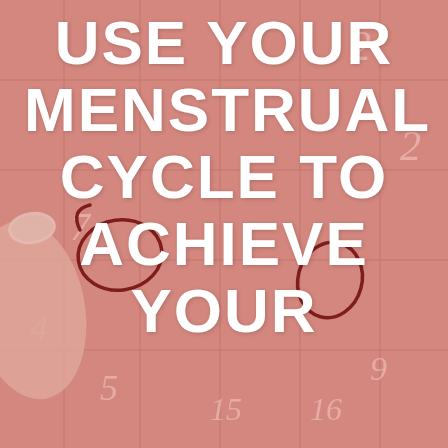[Figure (photo): Background photo of a pink calendar with dark red circles drawn on dates, and a hand with a painted fingernail visible on the left side. The calendar shows numbers including 2, 7, 4, 5, 15, 16, 9.]
USE YOUR MENSTRUAL CYCLE TO ACHIEVE YOUR